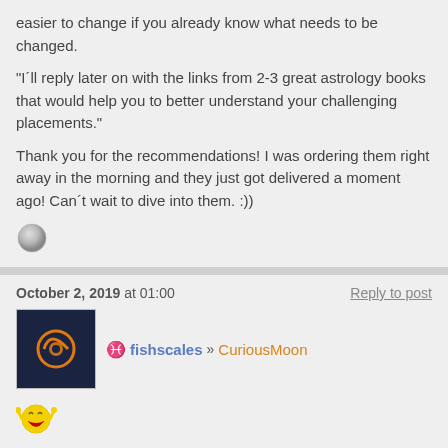easier to change if you already know what needs to be changed.
"I´ll reply later on with the links from 2-3 great astrology books that would help you to better understand your challenging placements."
Thank you for the recommendations! I was ordering them right away in the morning and they just got delivered a moment ago! Can´t wait to dive into them. :))
[Figure (illustration): Small grey sphere/moon icon]
October 2, 2019 at 01:00
Reply to post
[Figure (illustration): User avatar: dark navy background with orange crescent/spiral astrology symbol]
fishscales » CuriousMoon
[Figure (illustration): Laughing/excited yellow smiley face emoji]
Another victory on my quest to find those who don´t take themselves/their threads too seriously...